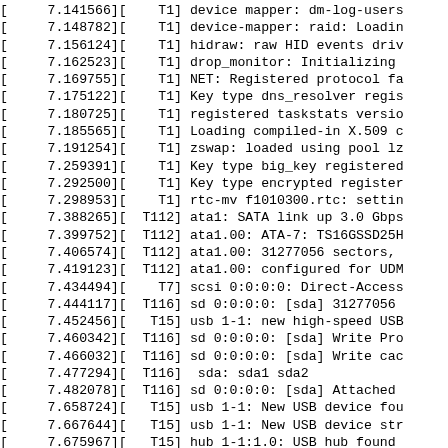Kernel boot log output showing timestamps, thread IDs, and system initialization messages from 7.141566 to 7.922441